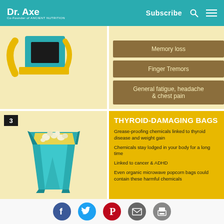Dr. Axe — Co-Founder of Ancient Nutrition | Subscribe
Memory loss
Finger Tremors
General fatigue, headache & chest pain
[Figure (illustration): Illustration of a popcorn bag (teal/turquoise) with yellow lining and popcorn pieces visible at the top, section numbered 3]
THYROID-DAMAGING BAGS
Grease-proofing chemicals linked to thyroid disease and weight gain
Chemicals stay lodged in your body for a long time
Linked to cancer & ADHD
Even organic microwave popcorn bags could contain these harmful chemicals
Social share icons: Facebook, Twitter, Pinterest, Email, Print